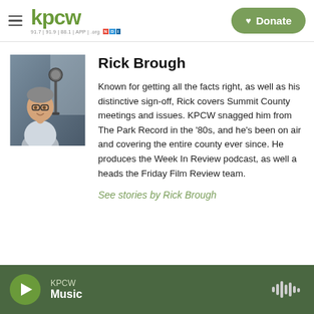KPCW | 91.7 | 91.9 | 88.1 | APP | .org | Donate
[Figure (photo): Photo of Rick Brough, a man with glasses sitting near a microphone in a radio studio]
Rick Brough
Known for getting all the facts right, as well as his distinctive sign-off, Rick covers Summit County meetings and issues. KPCW snagged him from The Park Record in the '80s, and he's been on air and covering the entire county ever since. He produces the Week In Review podcast, as well a heads the Friday Film Review team.
See stories by Rick Brough
KPCW Music